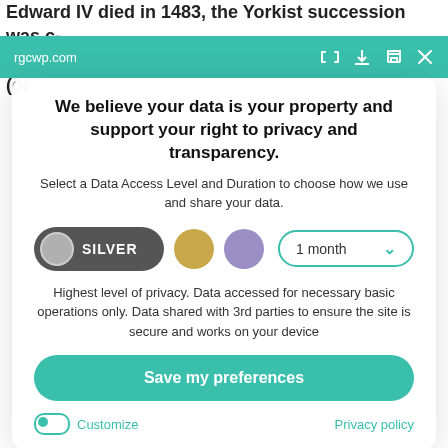Edward IV died in 1483, the Yorkist succession was clouded by doubts about the legitimacy of his son. Edward (or...
rgcwp.com
legitimate younger brother. Richard, Duke of Gl...
We believe your data is your property and support your right to privacy and transparency.
Select a Data Access Level and Duration to choose how we use and share your data.
SILVER  [gold circle]  [purple circle]  1 month ▾
Highest level of privacy. Data accessed for necessary basic operations only. Data shared with 3rd parties to ensure the site is secure and works on your device
Save my preferences
Customize
Privacy policy